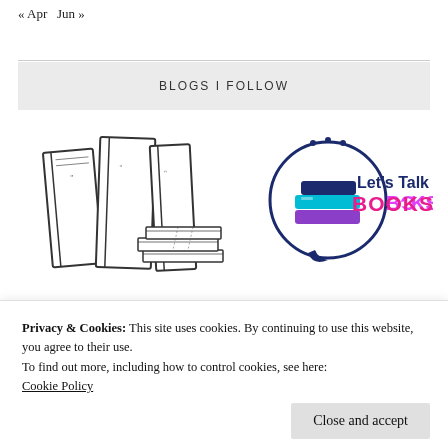« Apr   Jun »
BLOGS I FOLLOW
[Figure (illustration): Line drawing of stacked books leaning and lying flat]
[Figure (logo): Let's Talk BOOKS logo with speech bubble containing colorful stacked books icon]
Privacy & Cookies: This site uses cookies. By continuing to use this website, you agree to their use.
To find out more, including how to control cookies, see here:
Cookie Policy
Close and accept
[Figure (photo): Two partial photos at the bottom of the page showing books]